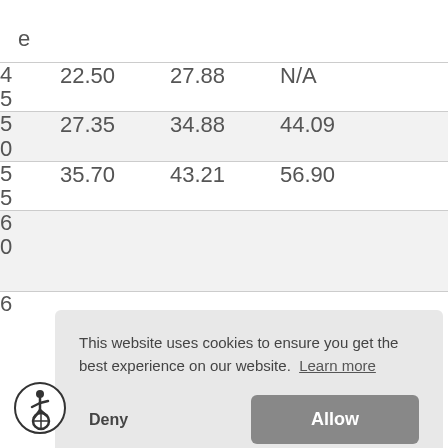| Age | Col1 | Col2 | Col3 |
| --- | --- | --- | --- |
| e |  |  |  |
| 45 | 22.50 | 27.88 | N/A |
| 50 | 27.35 | 34.88 | 44.09 |
| 55 | 35.70 | 43.21 | 56.90 |
| 60 |  |  |  |
| 6 |  |  |  |
This website uses cookies to ensure you get the best experience on our website. Learn more
Deny   Allow